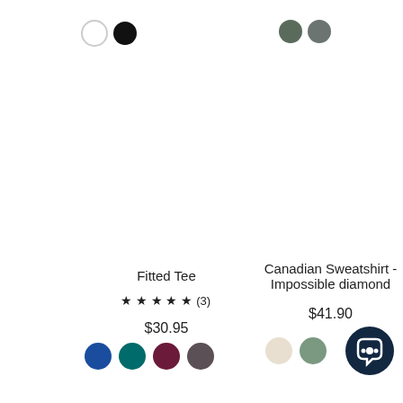[Figure (other): Color swatches for Fitted Tee: white circle outline and black filled circle]
[Figure (other): Color swatches for Canadian Sweatshirt: two dark olive/grey filled circles]
Fitted Tee
★ ★ ★ ★ ★ (3)
$30.95
[Figure (other): Four color swatches: royal blue, teal, dark red/maroon, dark grey]
Canadian Sweatshirt - Impossible diamond
$41.90
[Figure (other): Two color swatches: cream/beige and sage green, plus dark navy chat button icon]